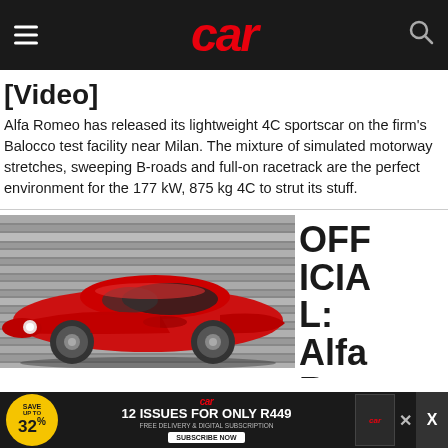car
[Video]
Alfa Romeo has released its lightweight 4C sportscar on the firm's Balocco test facility near Milan. The mixture of simulated motorway stretches, sweeping B-roads and full-on racetrack are the perfect environment for the 177 kW, 875 kg 4C to strut its stuff.
[Figure (photo): Red Alfa Romeo 4C sportscar photographed from the side against a background of horizontal metallic stripes]
OFFICIAL: Alfa Ro...
[Figure (infographic): Advertisement banner: Car magazine subscription offer - 12 issues for only R449, save up to 32%, free delivery and digital subscription, subscribe now]